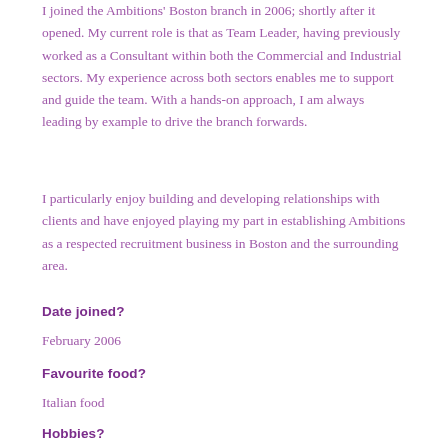I joined the Ambitions' Boston branch in 2006; shortly after it opened.  My current role is that as Team Leader, having previously worked as a Consultant within both the Commercial and Industrial sectors. My experience across both sectors enables me to support and guide the team. With a hands-on approach, I am always leading by example to drive the branch forwards.
I particularly enjoy building and developing relationships with clients and have enjoyed playing my part in establishing Ambitions as a respected recruitment business in Boston and the surrounding area.
Date joined?
February 2006
Favourite food?
Italian food
Hobbies?